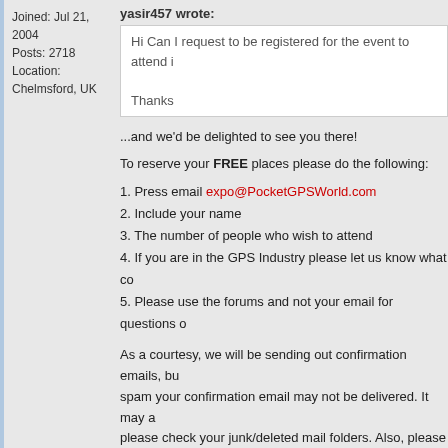Joined: Jul 21, 2004
Posts: 2718
Location: Chelmsford, UK
yasir457 wrote:
Hi Can I request to be registered for the event to attend i

Thanks
...and we'd be delighted to see you there!
To reserve your FREE places please do the following:
1. Press email expo@PocketGPSWorld.com
2. Include your name
3. The number of people who wish to attend
4. If you are in the GPS Industry please let us know what co
5. Please use the forums and not your email for questions o
As a courtesy, we will be sending out confirmation emails, bu spam your confirmation email may not be delivered. It may a please check your junk/deleted mail folders. Also, please wa
That said, everyone that replies before the 31st April are gua
Robert Brady
Editor, Pocket GPS World
The Premier GPS / SatNav Resource for News, Reviews an